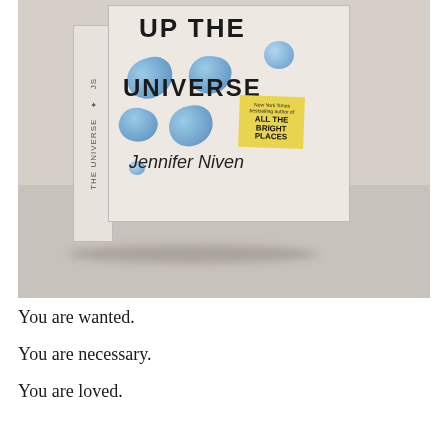[Figure (photo): A photograph of a book standing upright on a white/beige surface. The book cover shows the title 'UP THE UNIVERSE' in bold black letters with blue marble-like blobs/shapes, a yellow sticky note sticker referencing 'All the Bright Places', and the author name 'Jennifer Niven' in handwritten-style font. The book spine is visible on the left side.]
You are wanted.
You are necessary.
You are loved.